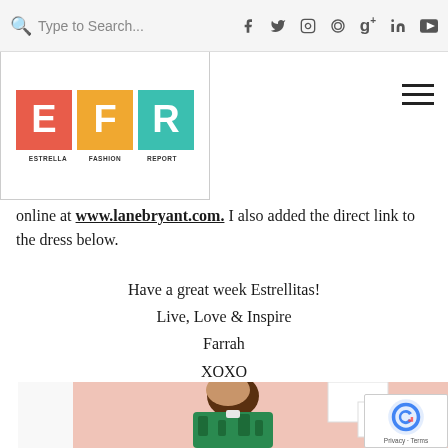Type to Search...  (social icons: facebook, twitter, instagram, pinterest, google+, linkedin, youtube)
[Figure (logo): Estrella Fashion Report logo with three colored tiles: E (red), F (orange/yellow), R (teal/green), with labels ESTRELLA, FASHION, REPORT below]
online at www.lanebryant.com. I also added the direct link to the dress below.
Have a great week Estrellitas!
Live, Love & Inspire
Farrah
XOXO
[Figure (photo): A woman with long brown hair wearing a green tropical leaf print dress with a bow/tie, standing against a peachy-pink background with white rectangular frames on the wall. She is smiling and looking down.]